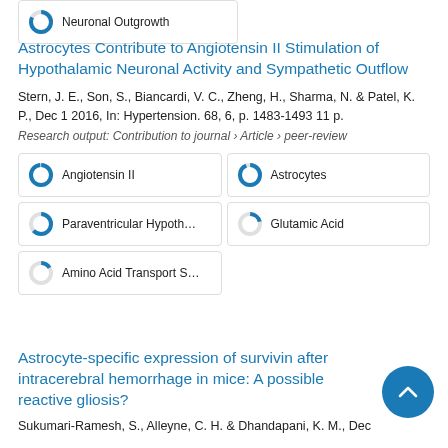[Figure (other): Partial donut icon with 'Neuronal Outgrowth' badge at top of page]
Astrocytes Contribute to Angiotensin II Stimulation of Hypothalamic Neuronal Activity and Sympathetic Outflow
Stern, J. E., Son, S., Biancardi, V. C., Zheng, H., Sharma, N. & Patel, K. P., Dec 1 2016, In: Hypertension. 68, 6, p. 1483-1493 11 p.
Research output: Contribution to journal › Article › peer-review
[Figure (other): Keyword badge: Angiotensin II with ~100% filled donut icon]
[Figure (other): Keyword badge: Astrocytes with ~95% filled donut icon]
[Figure (other): Keyword badge: Paraventricular Hypothalamic N with ~65% filled donut icon]
[Figure (other): Keyword badge: Glutamic Acid with ~20% filled donut icon]
[Figure (other): Keyword badge: Amino Acid Transport System X with ~15% filled donut icon]
Astrocyte-specific expression of survivin after intracerebral hemorrhage in mice: A possible reactive gliosis?
Sukumari-Ramesh, S., Alleyne, C. H. & Dhandapani, K. M., Dec